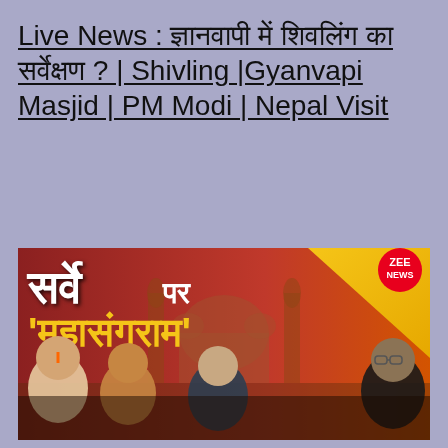Live News : ज्ञानवापी में शिवलिंग का सर्वेक्षण ? | Shivling |Gyanvapi Masjid | PM Modi | Nepal Visit
[Figure (screenshot): Zee News TV broadcast thumbnail showing Hindi headline 'सर्वे पर महासंग्राम' (Mahasangram on survey) with images of political/religious figures and a mosque in the background]